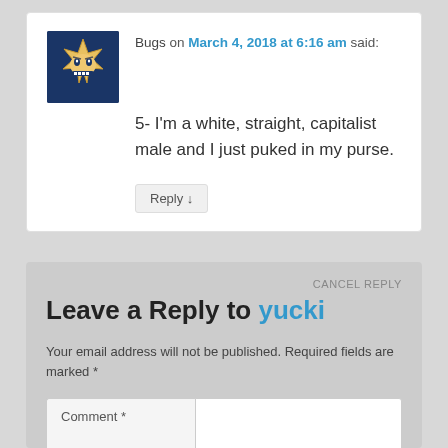Bugs on March 4, 2018 at 6:16 am said:
5- I'm a white, straight, capitalist male and I just puked in my purse.
Reply ↓
CANCEL REPLY
Leave a Reply to yucki
Your email address will not be published. Required fields are marked *
Comment *